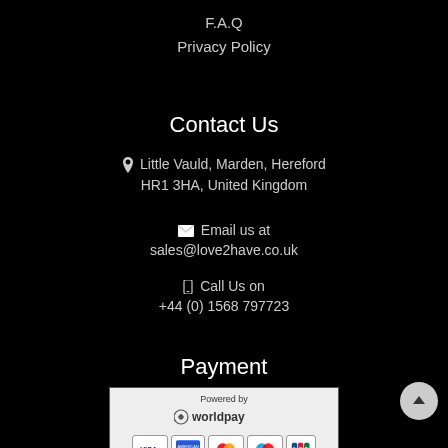F.A.Q
Privacy Policy
Contact Us
📍 Little Vauld, Marden, Hereford HR1 3HA, United Kingdom
✉ Email us at sales@love2have.co.uk
📱 Call Us on +44 (0) 1568 797723
Payment
[Figure (logo): Worldpay payment logo with accepted card logos: VISA, American Express, MasterCard, Maestro, JCB]